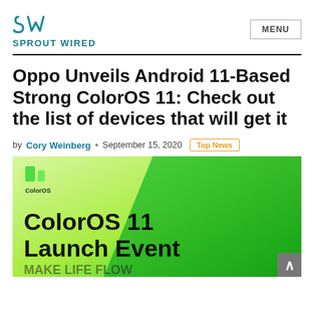SPROUT WIRED | MENU
Oppo Unveils Android 11-Based Strong ColorOS 11: Check out the list of devices that will get it
by Cory Weinberg • September 15, 2020 Top News
[Figure (photo): ColorOS 11 Launch Event promotional banner with green gradient background, ColorOS logo in top-left, and large text reading 'ColorOS 11 Launch Event MAKE LIFE FLOW']